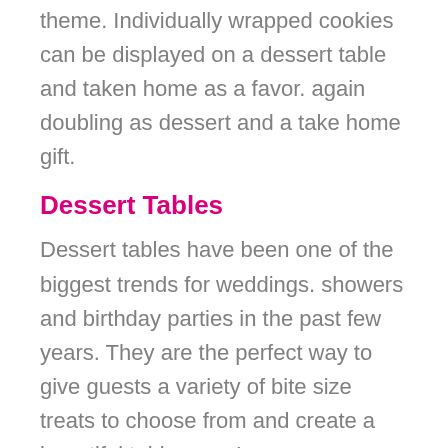theme. Individually wrapped cookies can be displayed on a dessert table and taken home as a favor. again doubling as dessert and a take home gift.
Dessert Tables
Dessert tables have been one of the biggest trends for weddings. showers and birthday parties in the past few years. They are the perfect way to give guests a variety of bite size treats to choose from and create a beautiful tablescape!